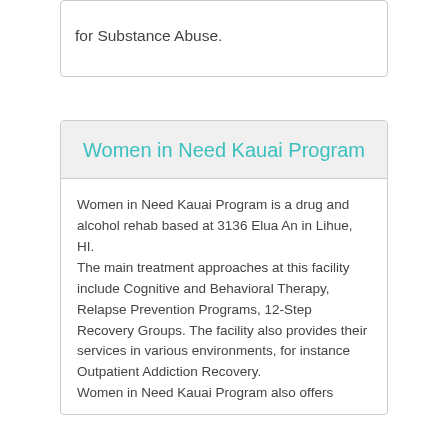for Substance Abuse.
Women in Need Kauai Program
Women in Need Kauai Program is a drug and alcohol rehab based at 3136 Elua An in Lihue, HI.
The main treatment approaches at this facility include Cognitive and Behavioral Therapy, Relapse Prevention Programs, 12-Step Recovery Groups. The facility also provides their services in various environments, for instance Outpatient Addiction Recovery.
Women in Need Kauai Program also offers